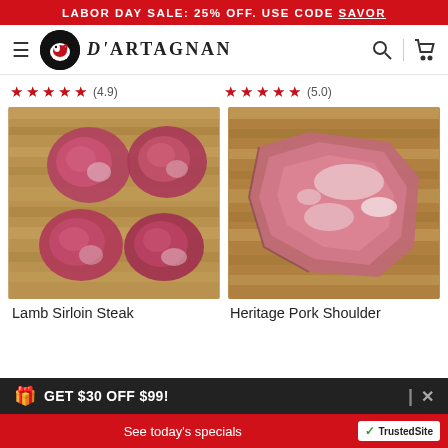LABOR DAY SALE: 25% OFF. USE CODE SAVOR
[Figure (logo): D'Artagnan logo with navigation bar including hamburger menu, circular duck logo, brand name, search icon and cart icon]
★★★★★ (4.9)   ★★★★★ (5.0)
[Figure (photo): Four pieces of raw lamb sirloin steak on a wooden cutting board]
[Figure (photo): Raw heritage pork shoulder on a wooden cutting board]
Lamb Sirloin Steak
Heritage Pork Shoulder
GET $30 OFF $99!
See today's specials   TrustedSite